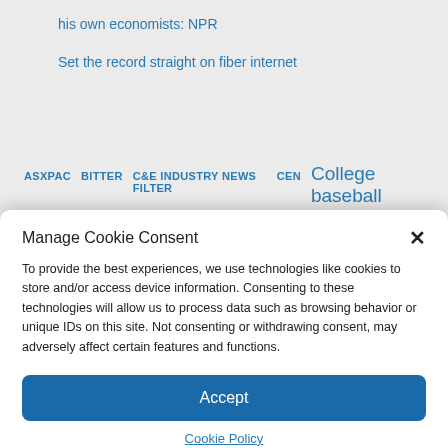his own economists: NPR
Set the record straight on fiber internet
ASXPAC  BITTER  C&E Industry News Filter  CEN  College baseball
Manage Cookie Consent
To provide the best experiences, we use technologies like cookies to store and/or access device information. Consenting to these technologies will allow us to process data such as browsing behavior or unique IDs on this site. Not consenting or withdrawing consent, may adversely affect certain features and functions.
Accept
Cookie Policy